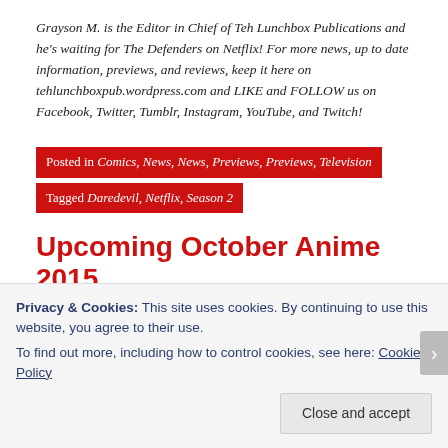Grayson M. is the Editor in Chief of Teh Lunchbox Publications and he's waiting for The Defenders on Netflix! For more news, up to date information, previews, and reviews, keep it here on tehlunchboxpub.wordpress.com and LIKE and FOLLOW us on Facebook, Twitter, Tumblr, Instagram, YouTube, and Twitch!
Posted in Comics, News, News, Previews, Previews, Television
Tagged Daredevil, Netflix, Season 2
Upcoming October Anime 2015
Privacy & Cookies: This site uses cookies. By continuing to use this website, you agree to their use.
To find out more, including how to control cookies, see here: Cookie Policy